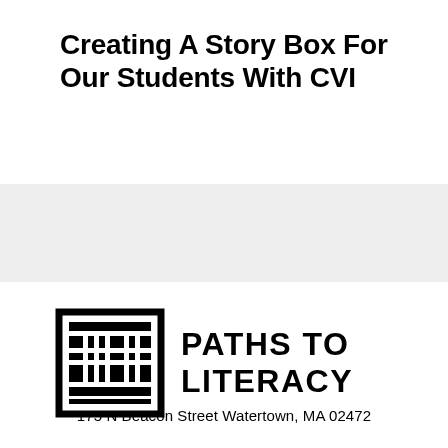Creating A Story Box For Our Students With CVI
[Figure (logo): Paths to Literacy logo: a square geometric icon resembling stacked pages/books on the left, and the text 'PATHS TO LITERACY' in bold large caps on the right]
175 N Beacon Street Watertown, MA 02472